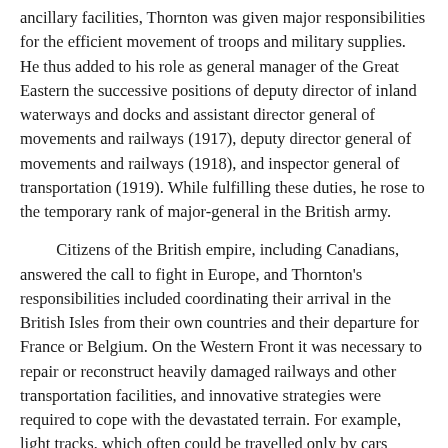ancillary facilities, Thornton was given major responsibilities for the efficient movement of troops and military supplies. He thus added to his role as general manager of the Great Eastern the successive positions of deputy director of inland waterways and docks and assistant director general of movements and railways (1917), deputy director general of movements and railways (1918), and inspector general of transportation (1919). While fulfilling these duties, he rose to the temporary rank of major-general in the British army.
Citizens of the British empire, including Canadians, answered the call to fight in Europe, and Thornton's responsibilities included coordinating their arrival in the British Isles from their own countries and their departure for France or Belgium. On the Western Front it was necessary to repair or reconstruct heavily damaged railways and other transportation facilities, and innovative strategies were required to cope with the devastated terrain. For example, light tracks, which often could be travelled only by cars pulled by horses, mules, or men, were laid for the